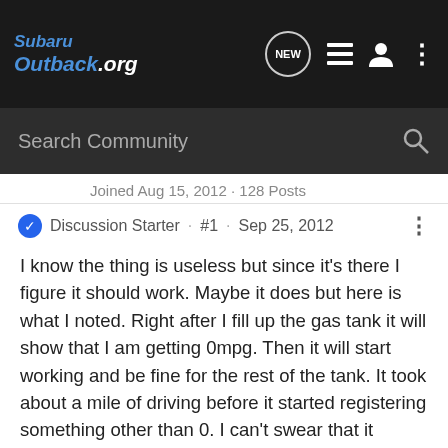SubaruOutback.org
Joined Aug 15, 2012 · 128 Posts
Discussion Starter · #1 · Sep 25, 2012
I know the thing is useless but since it's there I figure it should work. Maybe it does but here is what I noted. Right after I fill up the gas tank it will show that I am getting 0mpg. Then it will start working and be fine for the rest of the tank. It took about a mile of driving before it started registering something other than 0. I can't swear that it always does this as I have only noticed it twice but anyone else see something like that?
Wagondude · Registered 🇺🇸